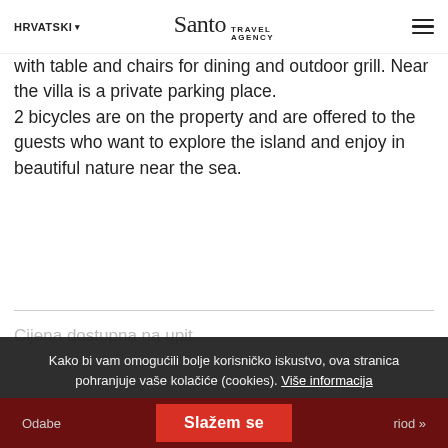HRVATSKI ▾  Santo Travel Agency  ☰
with table and chairs for dining and outdoor grill. Near the villa is a private parking place. 2 bicycles are on the property and are offered to the guests who want to explore the island and enjoy in beautiful nature near the sea.
Cijena dostupna na upit
Kako bi vam omogućili bolje korisničko iskustvo, ova stranica pohranjuje vaše kolačiće (cookies). Više informacija
Odaberi period »  Slažem se